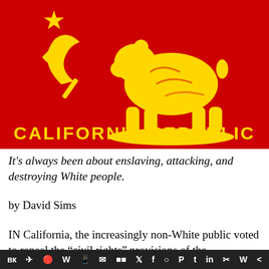[Figure (illustration): Modified California Republic flag with red background, hammer and sickle (Soviet symbol) in place of the star on the left, a gold bear walking, and 'CALIFORNIA REPUBLIC' text in gold letters at the bottom.]
It's always been about enslaving, attacking, and destroying White people.
by David Sims
IN California, the increasingly non-White public voted to repeal the “civil rights” provisions of the
VK | Telegram | Reddit | WordPress | WhatsApp | Email | Buffer | Twitter | Facebook | Instagram | Pinterest | Tumblr | LinkedIn | Share | W | <